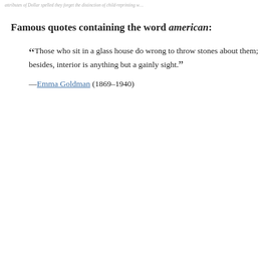attributes of Dollar spelled they forget the distinction of child-reprinting w...
Famous quotes containing the word american:
“Those who sit in a glass house do wrong to throw stones about them; besides, interior is anything but a gainly sight.”
—Emma Goldman (1869–1940)